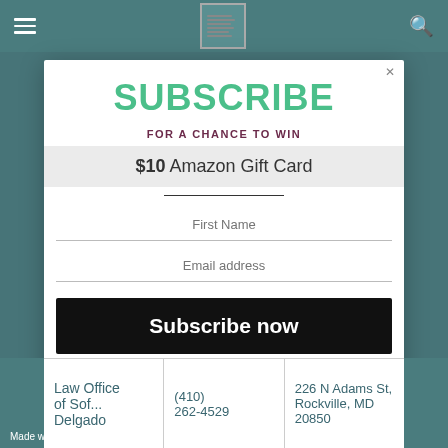Navigation bar with hamburger menu, logo, and search icon
SUBSCRIBE
FOR A CHANCE TO WIN
$10 Amazon Gift Card
First Name
Email address
Subscribe now
New winner every month!
Law Office of Sof... Delgado
(410) 262-4529
226 N Adams St, Rockville, MD 20850
Made with ♥ by OptiMonk